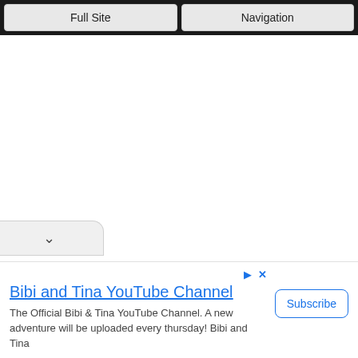Full Site | Navigation
[Figure (screenshot): White empty content area of a mobile browser page]
Bibi and Tina YouTube Channel
The Official Bibi & Tina YouTube Channel. A new adventure will be uploaded every thursday! Bibi and Tina